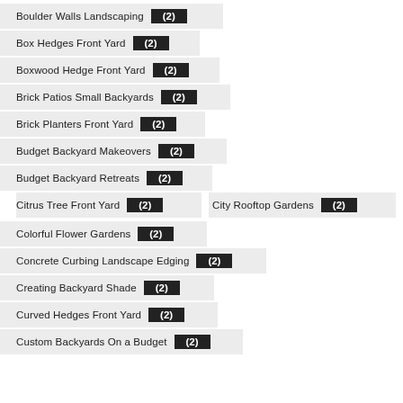Boulder Walls Landscaping (2)
Box Hedges Front Yard (2)
Boxwood Hedge Front Yard (2)
Brick Patios Small Backyards (2)
Brick Planters Front Yard (2)
Budget Backyard Makeovers (2)
Budget Backyard Retreats (2)
Citrus Tree Front Yard (2)
City Rooftop Gardens (2)
Colorful Flower Gardens (2)
Concrete Curbing Landscape Edging (2)
Creating Backyard Shade (2)
Curved Hedges Front Yard (2)
Custom Backyards On a Budget (2)